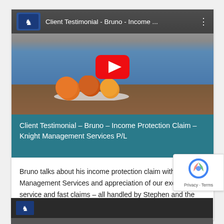[Figure (screenshot): YouTube video thumbnail showing a man in a blue t-shirt sitting at a table with fruits, with a YouTube play button overlay and top bar showing 'Client Testimonial - Bruno - Income ...' with Knight Management Services branding]
Client Testimonial - Bruno - Income Protection Claim - Knight Management Services P/L
Bruno talks about his income protection claim with Knight Management Services and appreciation of our excellent service and fast claims - all handled by Stephen and the team.
[Figure (screenshot): Partially visible second YouTube video card with Knight Management Services branding at bottom of page]